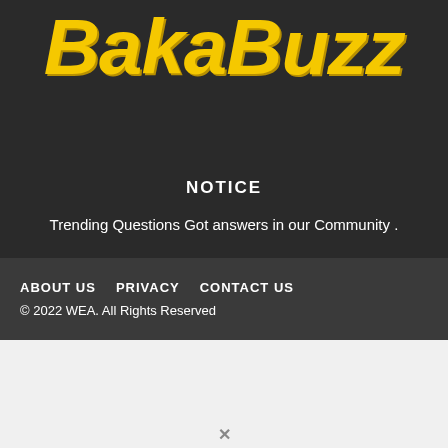[Figure (logo): BakaBuzz logo in large bold yellow italic text on dark background]
NOTICE
Trending Questions Got answers in our Community .
ABOUT US   PRIVACY   CONTACT US
© 2022 WEA. All Rights Reserved